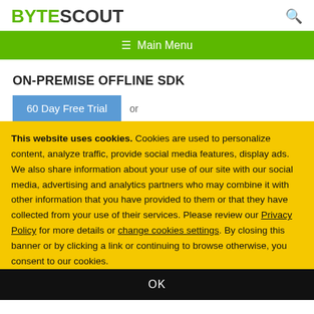BYTESCOUT
≡  Main Menu
ON-PREMISE OFFLINE SDK
60 Day Free Trial   or
This website uses cookies. Cookies are used to personalize content, analyze traffic, provide social media features, display ads. We also share information about your use of our site with our social media, advertising and analytics partners who may combine it with other information that you have provided to them or that they have collected from your use of their services. Please review our Privacy Policy for more details or change cookies settings. By closing this banner or by clicking a link or continuing to browse otherwise, you consent to our cookies.
OK